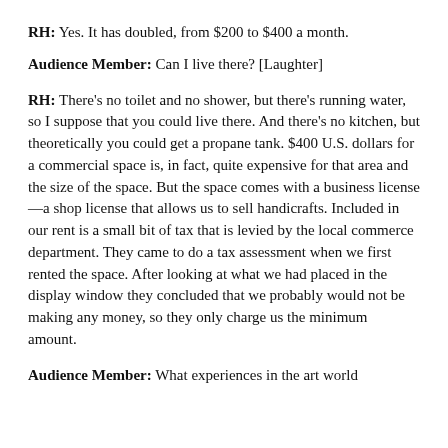RH: Yes. It has doubled, from $200 to $400 a month.
Audience Member: Can I live there? [Laughter]
RH: There's no toilet and no shower, but there's running water, so I suppose that you could live there. And there's no kitchen, but theoretically you could get a propane tank. $400 U.S. dollars for a commercial space is, in fact, quite expensive for that area and the size of the space. But the space comes with a business license—a shop license that allows us to sell handicrafts. Included in our rent is a small bit of tax that is levied by the local commerce department. They came to do a tax assessment when we first rented the space. After looking at what we had placed in the display window they concluded that we probably would not be making any money, so they only charge us the minimum amount.
Audience Member: What experiences in the art world